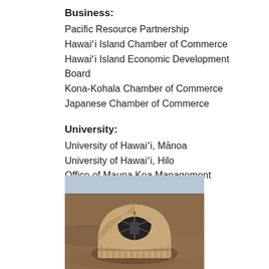Business:
Pacific Resource Partnership
Hawaiʻi Island Chamber of Commerce
Hawaiʻi Island Economic Development Board
Kona-Kohala Chamber of Commerce
Japanese Chamber of Commerce
University:
University of Hawaiʻi, Mānoa
University of Hawaiʻi, Hilo
Office of Mauna Kea Management
[Figure (photo): Aerial photograph of the Thirty Meter Telescope (TMT) observatory dome on Mauna Kea, shown from above on a rocky brown landscape, with the dome open revealing the telescope interior.]